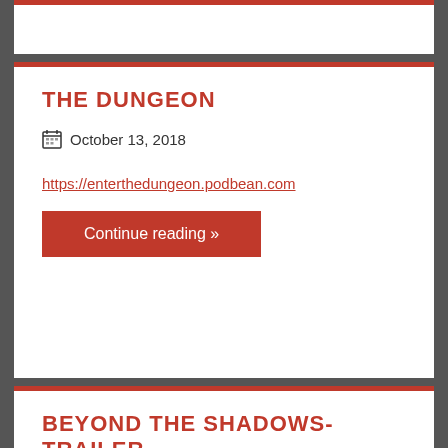THE DUNGEON
October 13, 2018
https://enterthedungeon.podbean.com
Continue reading »
BEYOND THE SHADOWS-TRAILER
October 13, 2018
Continue reading »